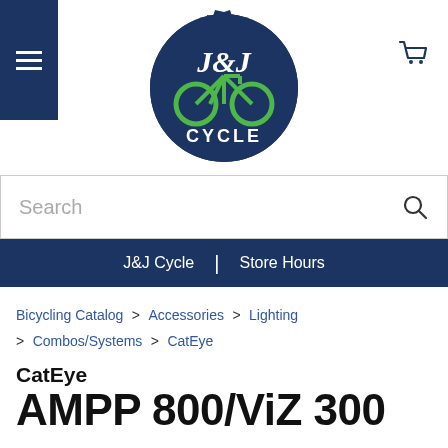[Figure (logo): J&J Cycle logo — dark navy circular badge with gear/cog edge, green bicycle icon and white stylized J&J letters, text CYCLE below]
☰  J&J Cycle  🛒
Search
J&J Cycle | Store Hours
Bicycling Catalog > Accessories > Lighting > Combos/Systems > CatEye
CatEye
AMPP 800/ViZ 300